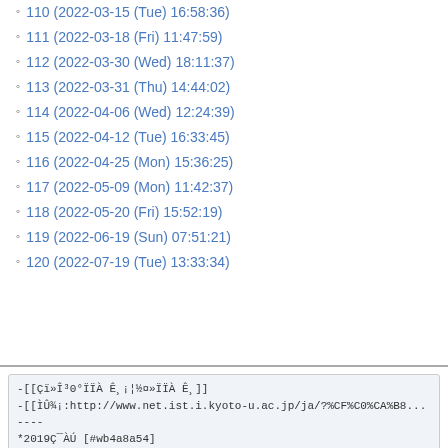110 (2022-03-15 (Tue) 16:58:36)
111 (2022-03-18 (Fri) 11:47:59)
112 (2022-03-30 (Wed) 18:11:37)
113 (2022-03-31 (Thu) 14:44:02)
114 (2022-04-06 (Wed) 12:24:39)
115 (2022-04-12 (Tue) 16:33:45)
116 (2022-04-25 (Mon) 15:36:25)
117 (2022-05-09 (Mon) 11:42:37)
118 (2022-05-20 (Fri) 15:52:19)
119 (2022-06-19 (Sun) 07:51:21)
120 (2022-07-19 (Tue) 13:33:34)
-[[Çï»Î³0°ÏÏÀ Ê¸¡¦½¤»ÏÏÀ Ê¸]]
-[[ÌÛ¾¡:http://www.net.ist.i.kyoto-u.ac.jp/ja/?%CF%C0%CA%B8...
----
*2019Ç¯ÀÚ [#wb4a8a54]
**ÏÀÃÊ¸»ÏÏÀ Ê¸ [#tfb2e0fd]
-Shuichi Miyazaki, Kazuya Okamoto, Jointly Stable Matching... Issue 2, pp. 646-665, August 2019.
**¹ñ°Ý²ñµÃÀùÈ¯É½¡Ê°°ÆÉÈÔ¡Ë [#1d749e97]
- Yasuaki Kobayashi, Yusuke Kobayashi, Shuichi Miyazak...
''[[An Improved Fixed-Parameter Algorithm for Max-Cut
Proc. [[the 28th International Workshop on Combinato...